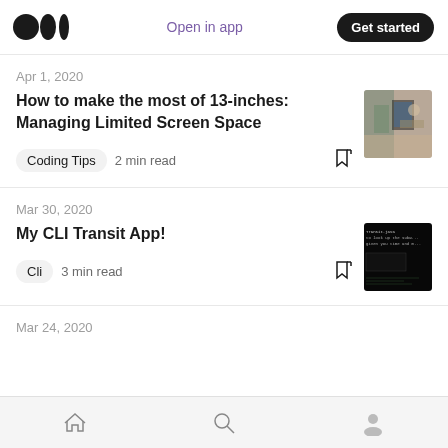Medium logo | Open in app | Get started
Apr 1, 2020
How to make the most of 13-inches: Managing Limited Screen Space
Coding Tips  2 min read
[Figure (photo): Thumbnail photo showing glasses on a table with a laptop screen in background]
Mar 30, 2020
My CLI Transit App!
Cli  3 min read
[Figure (screenshot): Thumbnail screenshot showing a CLI terminal window with dark background and green text]
Mar 24, 2020
Home | Search | Profile